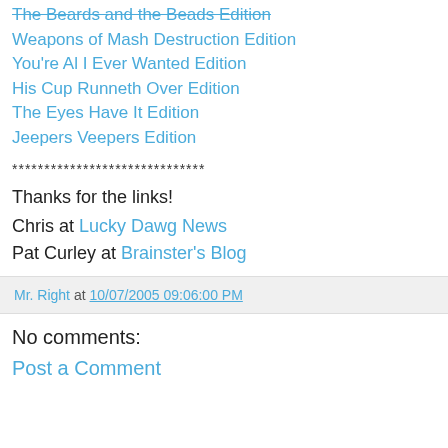The Beards and the Beads Edition
Weapons of Mash Destruction Edition
You're Al I Ever Wanted Edition
His Cup Runneth Over Edition
The Eyes Have It Edition
Jeepers Veepers Edition
******************************
Thanks for the links!
Chris at Lucky Dawg News
Pat Curley at Brainster's Blog
Mr. Right at 10/07/2005 09:06:00 PM
No comments:
Post a Comment